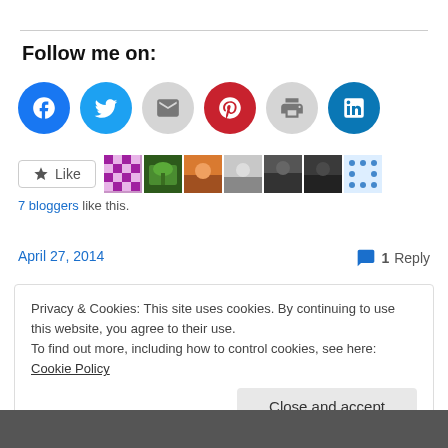Follow me on:
[Figure (infographic): Row of social media icon circles: Facebook (blue), Twitter (blue), Email (gray), Pinterest (red), Print (gray), LinkedIn (teal)]
[Figure (infographic): Like button and avatars of 7 bloggers who liked the post]
7 bloggers like this.
April 27, 2014
1 Reply
Privacy & Cookies: This site uses cookies. By continuing to use this website, you agree to their use.
To find out more, including how to control cookies, see here: Cookie Policy
Close and accept